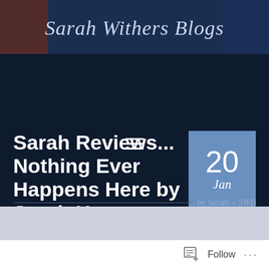[Figure (screenshot): Sarah Withers Blogs header banner with cursive script text on a dark blue background with decorative elements]
[Figure (other): Hamburger menu icon (three horizontal white lines)]
Sarah Reviews... Nothing Ever Happens Here by Sarah Hagger-Holt
20 Jan
by Sarah – SWB
[Figure (other): WordPress Follow button bar at bottom of page]